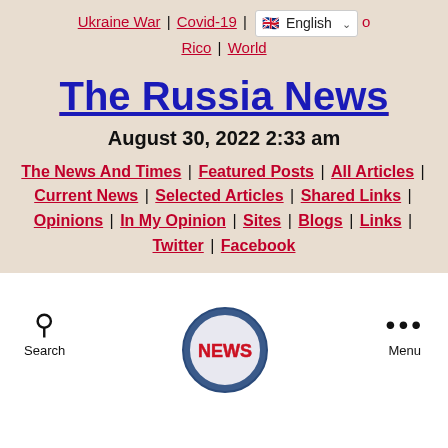Ukraine War | Covid-19 | [English dropdown] o Rico | World
The Russia News
August 30, 2022 2:33 am
The News And Times | Featured Posts | All Articles | Current News | Selected Articles | Shared Links | Opinions | In My Opinion | Sites | Blogs | Links | Twitter | Facebook
[Figure (logo): NEWS circular badge logo with blue circle border and red NEWS text]
Search
Menu